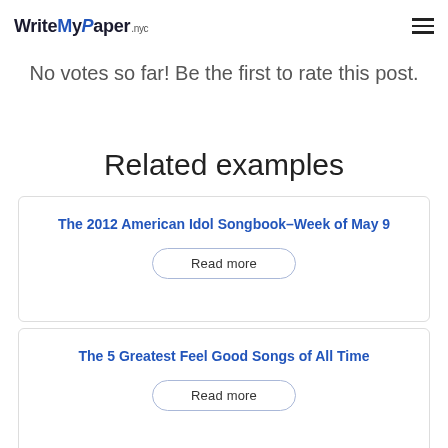WriteMyPaper .nyc
No votes so far! Be the first to rate this post.
Related examples
The 2012 American Idol Songbook–Week of May 9
Read more
The 5 Greatest Feel Good Songs of All Time
Read more